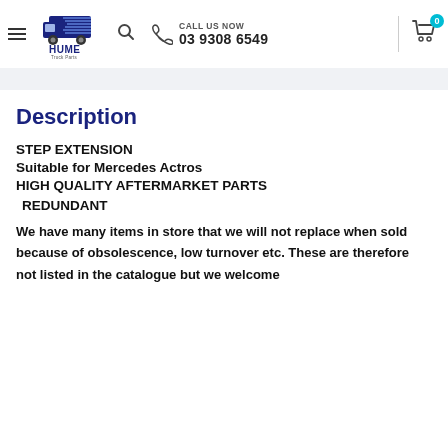Hume Truck Parts — CALL US NOW 03 9308 6549
Description
STEP EXTENSION
Suitable for Mercedes Actros
HIGH QUALITY AFTERMARKET PARTS
 REDUNDANT
We have many items in store that we will not replace when sold because of obsolescence, low turnover etc. These are therefore not listed in the catalogue but we welcome